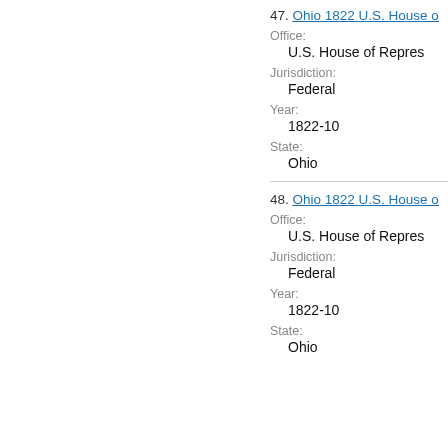47. Ohio 1822 U.S. House o...
Office:
U.S. House of Repres...
Jurisdiction:
Federal
Year:
1822-10
State:
Ohio
48. Ohio 1822 U.S. House o...
Office:
U.S. House of Repres...
Jurisdiction:
Federal
Year:
1822-10
State:
Ohio